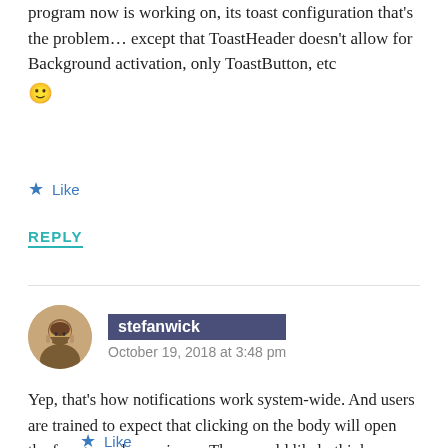program now is working on, its toast configuration that's the problem… except that ToastHeader doesn't allow for Background activation, only ToastButton, etc 🙂
★ Like
REPLY
stefanwick
October 19, 2018 at 3:48 pm
Yep, that's how notifications work system-wide. And users are trained to expect that clicking on the body will open the foreground experience. They would likely think your app is broken if it wouldn't behave the same way.
★ Like